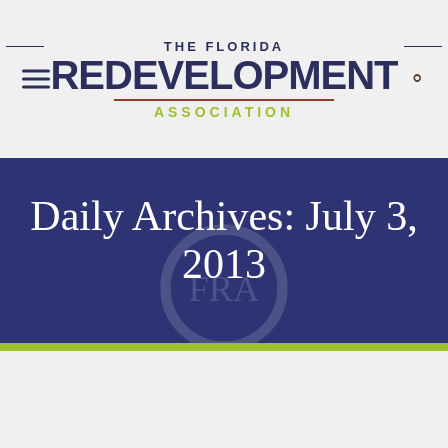The Florida Redevelopment Association
Daily Archives: July 3, 2013